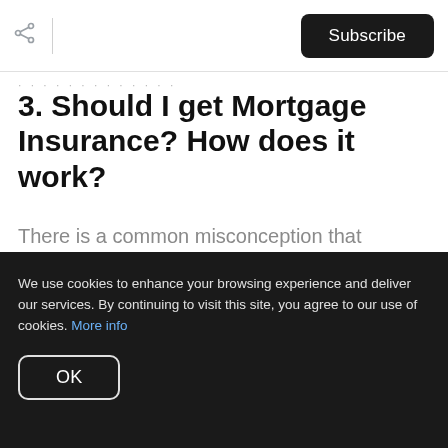Subscribe
3. Should I get Mortgage Insurance? How does it work?
There is a common misconception that mortgage loan insurance protects the borrower. This is not the case. Mortgage loan
We use cookies to enhance your browsing experience and deliver our services. By continuing to visit this site, you agree to our use of cookies. More info
OK